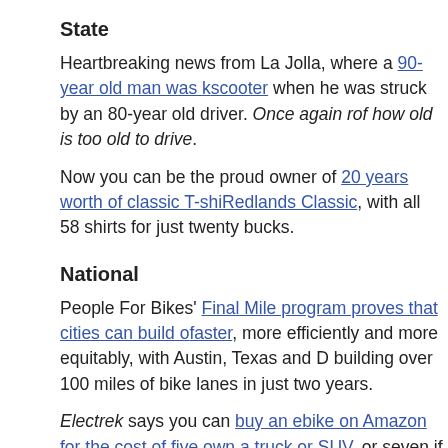State
Heartbreaking news from La Jolla, where a 90-year old man was k... scooter when he was struck by an 80-year old driver. Once again r... of how old is too old to drive.
Now you can be the proud owner of 20 years worth of classic T-shi... Redlands Classic, with all 58 shirts for just twenty bucks.
National
People For Bikes' Final Mile program proves that cities can build o... faster, more efficiently and more equitably, with Austin, Texas and D... building over 100 miles of bike lanes in just two years.
Electrek says you can buy an ebike on Amazon for the cost of five ... own a truck or SUV, or seven if you own a car. Or less of you live i... probably be happier, too.
Forbes recommends what they say may be the best ebike for unde...
Portland unveiled a new bicycle ambulance based on a Tern e-car...